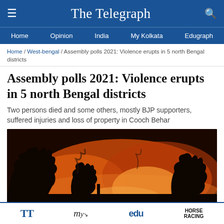The Telegraph
Home / West-bengal / Assembly polls 2021: Violence erupts in 5 north Bengal districts
Assembly polls 2021: Violence erupts in 5 north Bengal districts
Two persons died and some others, mostly BJP supporters, suffered injuries and loss of property in Cooch Behar
[Figure (photo): A fire burning at night with silhouettes of trees against an orange and red sky, depicting post-election violence.]
TT | my | edu | HORSE RACING